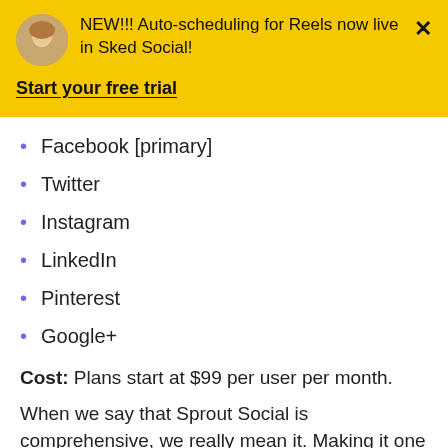NEW!!! Auto-scheduling for Reels now live in Sked Social!
Start your free trial
Facebook [primary]
Twitter
Instagram
LinkedIn
Pinterest
Google+
Cost: Plans start at $99 per user per month.
When we say that Sprout Social is comprehensive, we really mean it. Making it one of the top social media scheduling to... Sprout Social is so much more than a soc... media scheduler—it's software for nearly